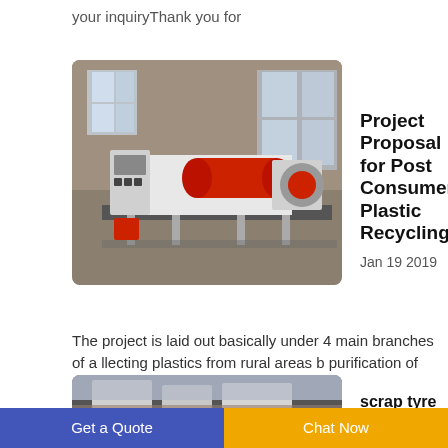your inquiryThank you for
[Figure (photo): Industrial plastic recycling machine in a warehouse, white and red, on a platform]
Project Proposal for Post Consumer Plastic Recycling
Jan 19 2019
The project is laid out basically under 4 main branches of a llecting plastics from rural areas b purification of chemical barrels
[Figure (photo): Industrial equipment on a rooftop or building exterior, partial view]
scrap tyre
Get a Quote
Chat Now